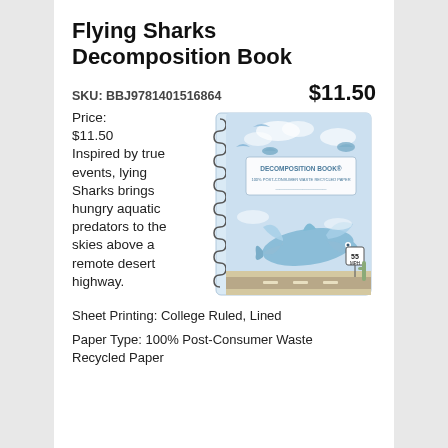Flying Sharks Decomposition Book
SKU: BBJ9781401516864    $11.50
Price: $11.50 Inspired by true events, lying Sharks brings hungry aquatic predators to the skies above a remote desert highway.
[Figure (illustration): Cover of the Flying Sharks Decomposition Book — a spiral-bound notebook with a light blue illustrated cover showing sharks with wings flying over a desert highway. A speed limit sign reads 55 MPH. Label reads DECOMPOSITION BOOK.]
Sheet Printing: College Ruled, Lined
Paper Type: 100% Post-Consumer Waste Recycled Paper